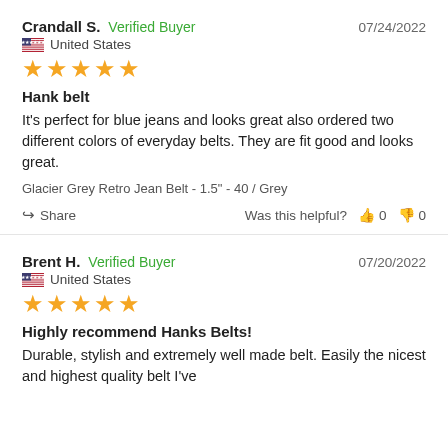Crandall S.  Verified Buyer  07/24/2022
United States
★★★★★
Hank belt
It's perfect for blue jeans and looks great also ordered two different colors of everyday belts. They are fit good and looks great.
Glacier Grey Retro Jean Belt - 1.5" - 40 / Grey
Share  Was this helpful?  👍 0  👎 0
Brent H.  Verified Buyer  07/20/2022
United States
★★★★★
Highly recommend Hanks Belts!
Durable, stylish and extremely well made belt. Easily the nicest and highest quality belt I've